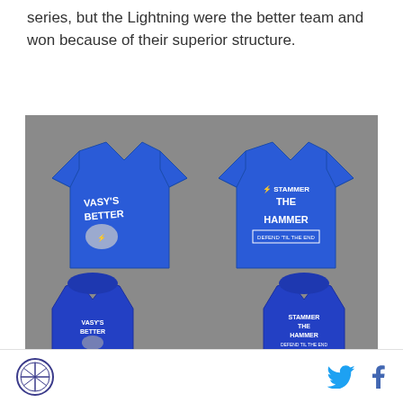series, but the Lightning were the better team and won because of their superior structure.
[Figure (photo): Two blue t-shirts and two blue hoodies with hockey-themed graphics. Left shirt reads 'Vasy's Better' with a cartoon character, right shirt reads 'Stammer The Hammer / Defend Til The End'. The hoodies show the same designs on the back.]
Logo icon, Twitter icon, Facebook icon